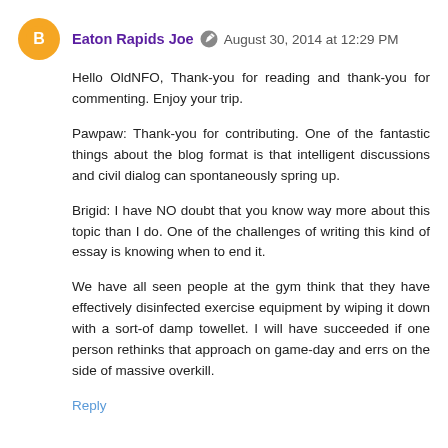Eaton Rapids Joe  August 30, 2014 at 12:29 PM
Hello OldNFO, Thank-you for reading and thank-you for commenting. Enjoy your trip.

Pawpaw: Thank-you for contributing. One of the fantastic things about the blog format is that intelligent discussions and civil dialog can spontaneously spring up.

Brigid: I have NO doubt that you know way more about this topic than I do. One of the challenges of writing this kind of essay is knowing when to end it.

We have all seen people at the gym think that they have effectively disinfected exercise equipment by wiping it down with a sort-of damp towellet. I will have succeeded if one person rethinks that approach on game-day and errs on the side of massive overkill.
Reply